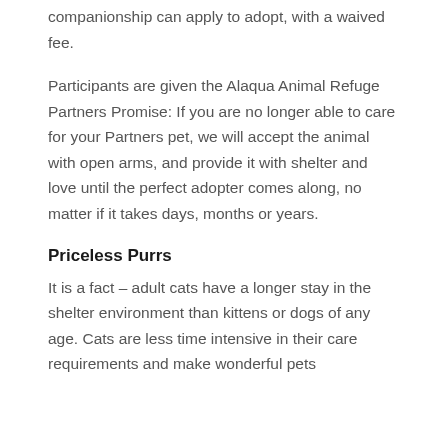companionship can apply to adopt, with a waived fee.
Participants are given the Alaqua Animal Refuge Partners Promise: If you are no longer able to care for your Partners pet, we will accept the animal with open arms, and provide it with shelter and love until the perfect adopter comes along, no matter if it takes days, months or years.
Priceless Purrs
It is a fact – adult cats have a longer stay in the shelter environment than kittens or dogs of any age. Cats are less time intensive in their care requirements and make wonderful pets